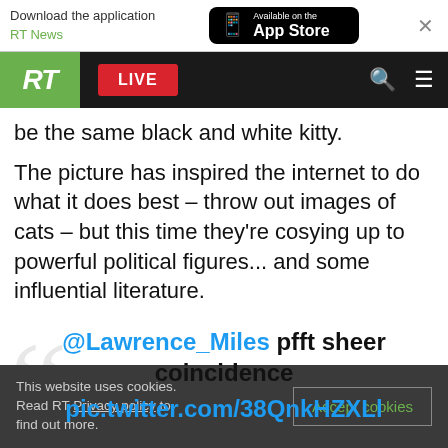[Figure (screenshot): App download banner: 'Download the application RT News' with App Store button and close X]
[Figure (screenshot): RT website navigation bar with green RT logo box, red LIVE button, search and menu icons on black background]
be the same black and white kitty.
The picture has inspired the internet to do what it does best – throw out images of cats – but this time they're cosying up to powerful political figures... and some influential literature.
@Lawrence_Miles pfft sheer coincidence pic.twitter.com/38QnkHZXLl
This website uses cookies. Read RT Privacy policy to find out more.